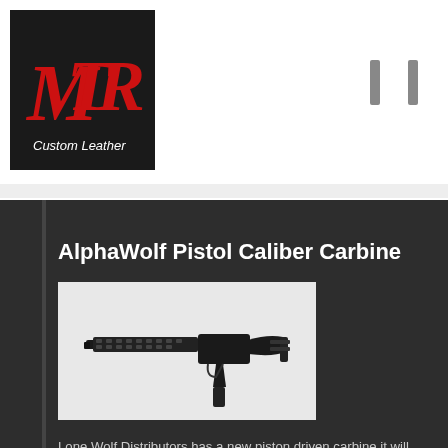[Figure (logo): MTR Custom Leather logo — stylized red MTR letters on black background with 'Custom Leather' text below]
AlphaWolf Pistol Caliber Carbine
[Figure (photo): Black AlphaWolf Pistol Caliber Carbine rifle on white background, side profile view showing M-LOK handguard, adjustable stock, and pistol grip]
Lone Wolf Distributors has a new piston driven carbine it will show in January. Called the AlphaWolf Pistol Caliber Carbine, it is a Glock magazine fed gun that can be